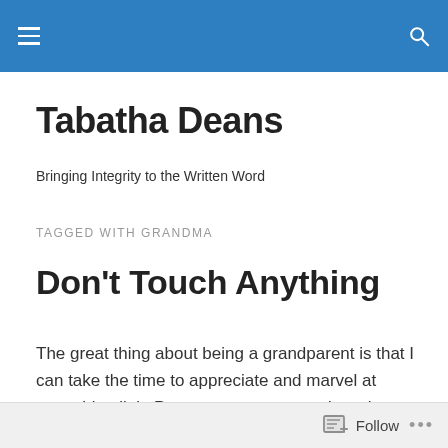Tabatha Deans — site navigation header bar
Tabatha Deans
Bringing Integrity to the Written Word
TAGGED WITH GRANDMA
Don't Touch Anything
The great thing about being a grandparent is that I can take the time to appreciate and marvel at everything little Petra says, as opposed to when Jessica was little, when I was always in a hurry to get somewhere. Petra is a mini
Follow ...